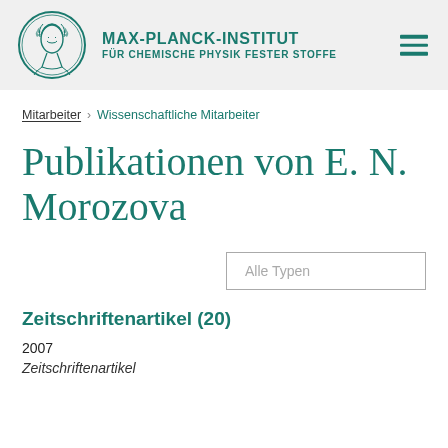MAX-PLANCK-INSTITUT FÜR CHEMISCHE PHYSIK FESTER STOFFE
Mitarbeiter > Wissenschaftliche Mitarbeiter
Publikationen von E. N. Morozova
Alle Typen
Zeitschriftenartikel (20)
2007
Zeitschriftenartikel